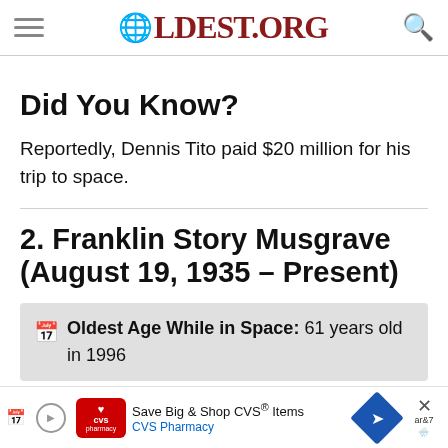OLDEST.ORG
Did You Know?
Reportedly, Dennis Tito paid $20 million for his trip to space.
2. Franklin Story Musgrave (August 19, 1935 – Present)
Oldest Age While in Space: 61 years old in 1996